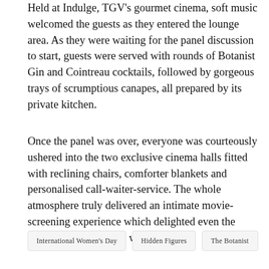Held at Indulge, TGV's gourmet cinema, soft music welcomed the guests as they entered the lounge area. As they were waiting for the panel discussion to start, guests were served with rounds of Botanist Gin and Cointreau cocktails, followed by gorgeous trays of scrumptious canapes, all prepared by its private kitchen.
Once the panel was over, everyone was courteously ushered into the two exclusive cinema halls fitted with reclining chairs, comforter blankets and personalised call-waiter-service. The whole atmosphere truly delivered an intimate movie-screening experience which delighted even the most pampered guests who attended.
International Women's Day
Hidden Figures
The Botanist